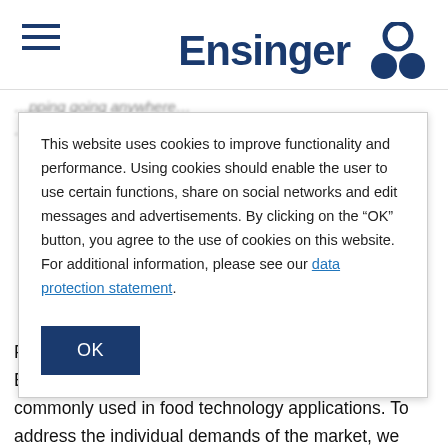Ensinger
This website uses cookies to improve functionality and performance. Using cookies should enable the user to use certain functions, share on social networks and edit messages and advertisements. By clicking on the “OK” button, you agree to the use of cookies on this website. For additional information, please see our data protection statement.
OK
Food compliance declarations are available from Ensinger for our technical polymers, which are most commonly used in food technology applications. To address the individual demands of the market, we offer our customers an extremely large range of different types of plastic and dimensions from